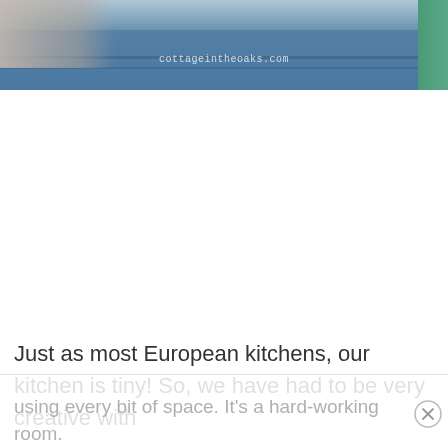[Figure (photo): Partial photo showing the top of a blue painted cabinet/furniture piece with decorative trim, a person partially visible on the left side, a teal/green element on the right edge, and a watermark reading 'cottageintheoaks.com']
Just as most European kitchens, our kitchen is tiny! So, we have had to be very creative with
using every bit of space. It's a hard-working room.